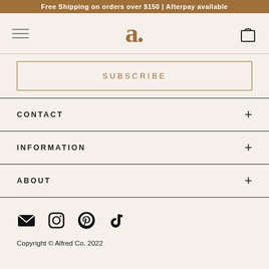Free Shipping on orders over $150 | Afterpay available
[Figure (logo): Alfred Co. logo with stylized 'a.' in brown serif font and hamburger menu and cart icon]
SUBSCRIBE
CONTACT +
INFORMATION +
ABOUT +
[Figure (other): Social media icons: email, Instagram, Pinterest, TikTok]
Copyright © Alfred Co. 2022